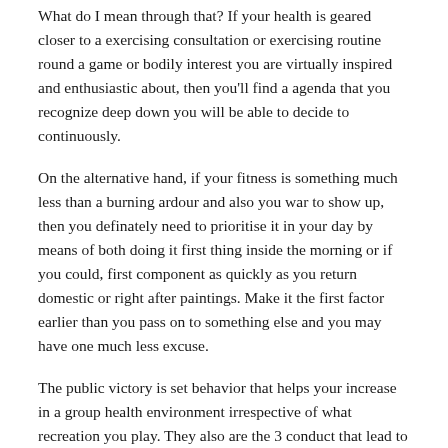What do I mean through that? If your health is geared closer to a exercising consultation or exercising routine round a game or bodily interest you are virtually inspired and enthusiastic about, then you'll find a agenda that you recognize deep down you will be able to decide to continuously.
On the alternative hand, if your fitness is something much less than a burning ardour and also you war to show up, then you definately need to prioritise it in your day by means of both doing it first thing inside the morning or if you could, first component as quickly as you return domestic or right after paintings. Make it the first factor earlier than you pass on to something else and you may have one much less excuse.
The public victory is set behavior that helps your increase in a group health environment irrespective of what recreation you play. They also are the 3 conduct that lead to interdependence in fitness. Interdependence may be a powerful manner to